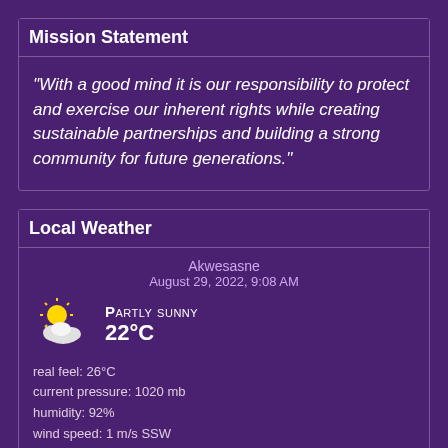Mission Statement
“With a good mind it is our responsibility to protect and exercise our inherent rights while creating sustainable partnerships and building a strong community for future generations.”
Local Weather
Akwesasne
August 29, 2022, 9:08 AM
Partly sunny
22°C
real feel: 26°C
current pressure: 1020 mb
humidity: 92%
wind speed: 1 m/s SSW
wind gusts: 3 m/s
UV-Index: 2
sunrise: 6:17 AM